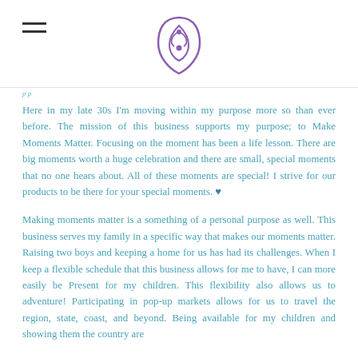[Logo and hamburger menu]
Here in my late 30s I'm moving within my purpose more so than ever before. The mission of this business supports my purpose; to Make Moments Matter. Focusing on the moment has been a life lesson. There are big moments worth a huge celebration and there are small, special moments that no one hears about. All of these moments are special! I strive for our products to be there for your special moments. ♥
Making moments matter is a something of a personal purpose as well. This business serves my family in a specific way that makes our moments matter. Raising two boys and keeping a home for us has had its challenges. When I keep a flexible schedule that this business allows for me to have, I can more easily be Present for my children. This flexibility also allows us to adventure! Participating in pop-up markets allows for us to travel the region, state, coast, and beyond. Being available for my children and showing them the country are